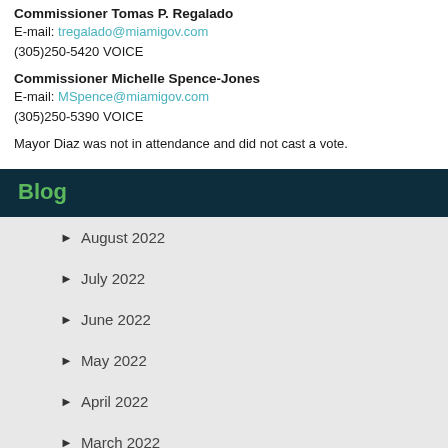Commissioner Tomas P. Regalado
E-mail: tregalado@miamigov.com
(305)250-5420 VOICE
Commissioner Michelle Spence-Jones
E-mail: MSpence@miamigov.com
(305)250-5390 VOICE
Mayor Diaz was not in attendance and did not cast a vote.
Blog
August 2022
July 2022
June 2022
May 2022
April 2022
March 2022